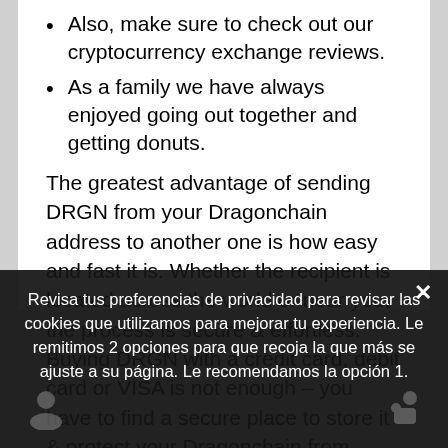Also, make sure to check out our cryptocurrency exchange reviews.
As a family we have always enjoyed going out together and getting donuts.
The greatest advantage of sending DRGN from your Dragonchain address to another one is how easy and fast it is. Whether the recipient is located across the world or near you, the process is secure & effortless. Buying DRGN with a credit card, debit card or VISA is not enough – you have to find a secure place to store it & protect your Dragonchain from hackers.
Revisa tus preferencias de privacidad para revisar las cookies que utilizamos para mejorar tu experiencia. Le remitimos 2 opciones para que recoja la que más se ajuste a su página. Le recomendamos la opción 1.